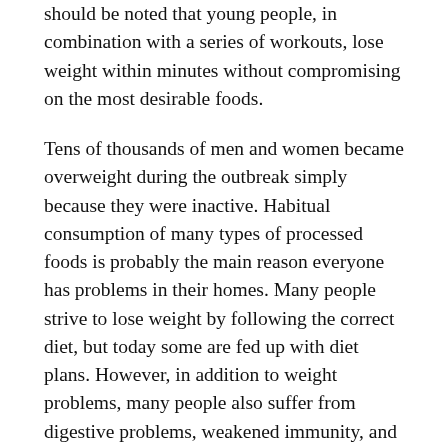should be noted that young people, in combination with a series of workouts, lose weight within minutes without compromising on the most desirable foods.
Tens of thousands of men and women became overweight during the outbreak simply because they were inactive. Habitual consumption of many types of processed foods is probably the main reason everyone has problems in their homes. Many people strive to lose weight by following the correct diet, but today some are fed up with diet plans. However, in addition to weight problems, many people also suffer from digestive problems, weakened immunity, and other health problems.
To get rid of most health threats, vitamin supplements, in combination with BioFit, work with each particular prescription most effective and are arguably one of the best health and fitness supplements on the planet. Unfortunately, you will find this new probiotic ingredient that effectively blocks negative and harmful bacteria by increasing the amount of very good bacteria in other parts of the body. It truly is one of the